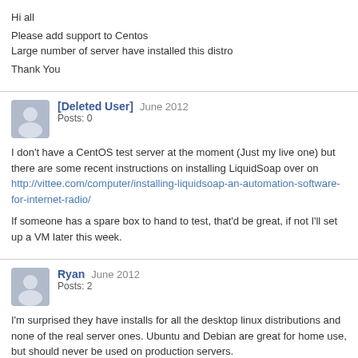Hi all

Please add support to Centos
Large number of server have installed this distro

Thank You
[Deleted User]  June 2012
Posts: 0

I don't have a CentOS test server at the moment (Just my live one) but there are some recent instructions on installing LiquidSoap over on http://vittee.com/computer/installing-liquidsoap-an-automation-software-for-internet-radio/

If someone has a spare box to hand to test, that'd be great, if not I'll set up a VM later this week.
Ryan  June 2012
Posts: 2

I'm surprised they have installs for all the desktop linux distributions and none of the real server ones.  Ubuntu and Debian are great for home use, but should never be used on production servers.